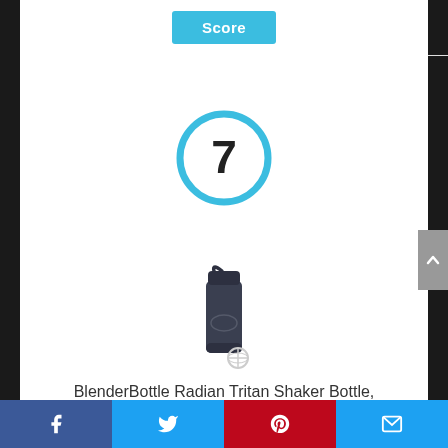[Figure (other): A cyan/blue Score button on white background]
[Figure (other): Number 7 inside a cyan circle ring score indicator]
[Figure (photo): BlenderBottle Radian Tritan Shaker Bottle product photo - dark navy bottle with metal whisk ball]
BlenderBottle Radian Tritan Shaker Bottle,
[Figure (other): Social media share bar with Facebook, Twitter, Pinterest, and Email icons]